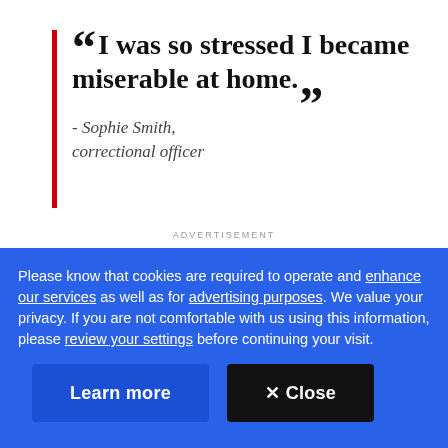“I was so stressed I became miserable at home.” - Sophie Smith, correctional officer
ADVERTISEMENT
Please know that cookies are required to operate and enhance our services as well as for advertising purposes. We value your privacy. If you are not comfortable with us using this information, please review your settings before continuing your visit.